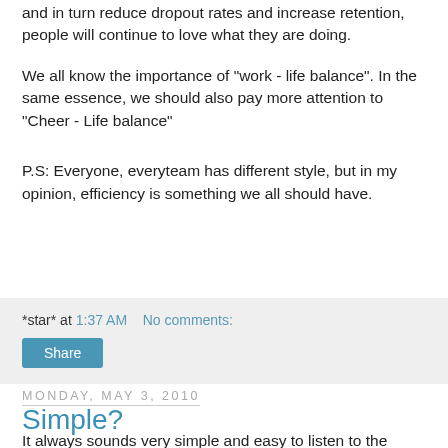and in turn reduce dropout rates and increase retention, people will continue to love what they are doing.
We all know the importance of "work - life balance". In the same essence, we should also pay more attention to "Cheer - Life balance"
P.S: Everyone, everyteam has different style, but in my opinion, efficiency is something we all should have.
*star* at 1:37 AM   No comments:
Share
Monday, May 3, 2010
Simple?
It always sounds very simple and easy to listen to the techniques someone tells you in order to hit a particular stunt. But after you try it yourself, trying to implement